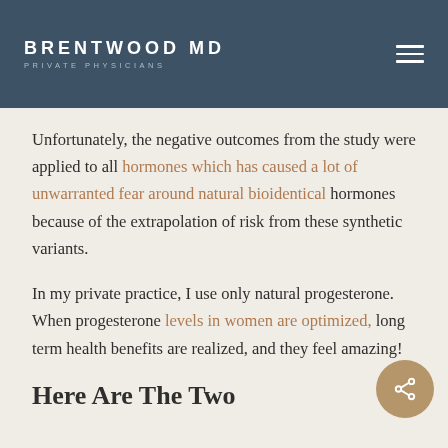BRENTWOOD MD PRIVATE PHYSICIANS
Unfortunately, the negative outcomes from the study were applied to all hormones which has caused a lot of unwarranted fear around natural bioidentical hormones because of the extrapolation of risk from these synthetic variants.
In my private practice, I use only natural progesterone. When progesterone levels in women are optimized, long term health benefits are realized, and they feel amazing!
Here Are The Two